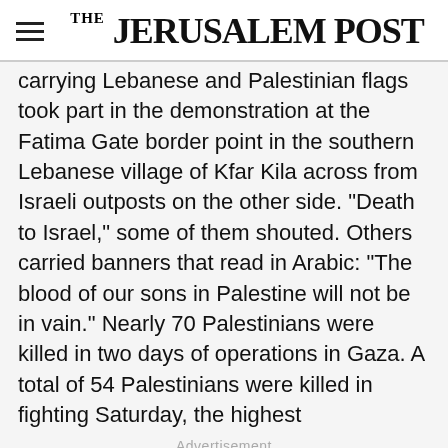THE JERUSALEM POST
carrying Lebanese and Palestinian flags took part in the demonstration at the Fatima Gate border point in the southern Lebanese village of Kfar Kila across from Israeli outposts on the other side. "Death to Israel," some of them shouted. Others carried banners that read in Arabic: "The blood of our sons in Palestine will not be in vain." Nearly 70 Palestinians were killed in two days of operations in Gaza. A total of 54 Palestinians were killed in fighting Saturday, the highest
Advertisement